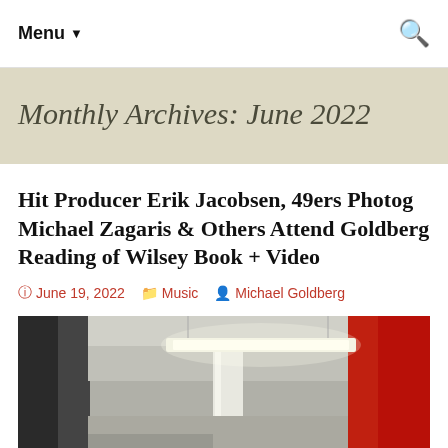Menu ▾  🔍
Monthly Archives: June 2022
Hit Producer Erik Jacobsen, 49ers Photog Michael Zagaris & Others Attend Goldberg Reading of Wilsey Book + Video
June 19, 2022   Music   Michael Goldberg
[Figure (photo): Interior of a venue or gallery space with industrial ceiling, fluorescent lighting bar, white pillar, and a red wall panel on the right side.]